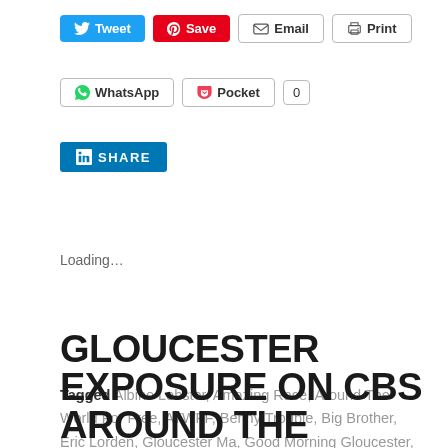[Figure (screenshot): Social share buttons row 1: Tweet (Twitter, blue), Save (Pinterest, red), Email (outlined), Print (outlined)]
[Figure (screenshot): Social share buttons row 2: WhatsApp (outlined), Pocket (outlined with logo), pocket count badge showing 0]
[Figure (screenshot): LinkedIn SHARE button (blue with LinkedIn logo)]
Loading…
Tagged Albino Lobster, Amazing Race, Around The World For Free, ATWFF, Benny Trouble, Big Brother, Eric Lorden, Gloucester Ma, Good Morning Gloucester, Greasy Pole, Jeff Schroeder, lobster liberation, Mark Ring, Passports, Reality Fan Forum, Stanley Thomas, The Rabbit, Video, zsolt    2 Comments
GLOUCESTER EXPOSURE ON CBS AROUND THE